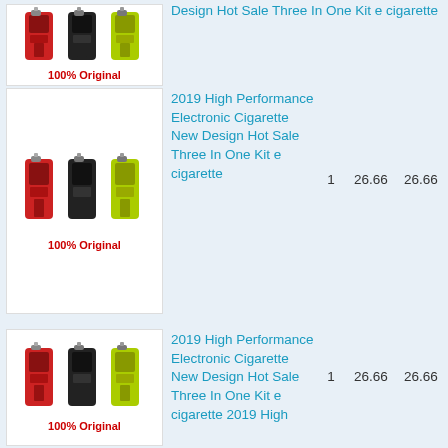[Figure (photo): Product image of e-cigarette kit showing three devices in red, black, and yellow colors, with '100% Original' label in red]
Design Hot Sale Three In One Kit e cigarette 2019 High Performance Electronic Cigarette New Design Hot Sale Three In One Kit e cigarette
1    26.66    26.66
[Figure (photo): Product image of e-cigarette kit showing three devices in red, black, and yellow colors, with '100% Original' label in red]
2019 High Performance Electronic Cigarette New Design Hot Sale Three In One Kit e cigarette
1    26.66    26.66
[Figure (photo): Product image of e-cigarette kit showing three devices in red, black, and yellow colors, with '100% Original' label in red]
2019 High Performance Electronic Cigarette New Design Hot Sale Three In One Kit e cigarette 2019 High
1    26.66    26.66